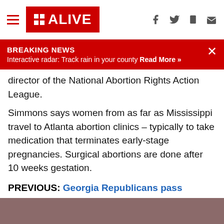11 ALIVE | f | twitter | mobile | mail
BREAKING NEWS
Interactive radar: Track rain in your county Read More »
director of the National Abortion Rights Action League.
Simmons says women from as far as Mississippi travel to Atlanta abortion clinics – typically to take medication that terminates early-stage pregnancies. Surgical abortions are done after 10 weeks gestation.
PREVIOUS: Georgia Republicans pass 'heartbeat' abortion bill as Democrats hold hangers in protest
Outside the Georgia Capitol, protesters dressed as characters from "The Handmaid's Tale" protested HB 481. Some held coathangers to dramatize a crude tool women sometimes used before abortion was legalized.